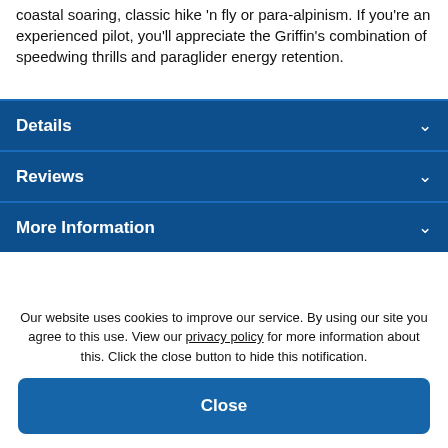coastal soaring, classic hike 'n fly or para-alpinism. If you're an experienced pilot, you'll appreciate the Griffin's combination of speedwing thrills and paraglider energy retention.
Details
Reviews
More Information
Our website uses cookies to improve our service. By using our site you agree to this use. View our privacy policy for more information about this. Click the close button to hide this notification.
Close